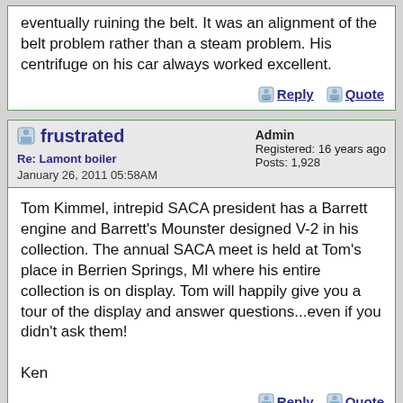eventually ruining the belt. It was an alignment of the belt problem rather than a steam problem. His centrifuge on his car always worked excellent.
Reply | Quote
frustrated
Re: Lamont boiler
January 26, 2011 05:58AM
Admin
Registered: 16 years ago
Posts: 1,928
Tom Kimmel, intrepid SACA president has a Barrett engine and Barrett's Mounster designed V-2 in his collection. The annual SACA meet is held at Tom's place in Berrien Springs, MI where his entire collection is on display. Tom will happily give you a tour of the display and answer questions...even if you didn't ask them!

Ken
Reply | Quote
Peter Brow